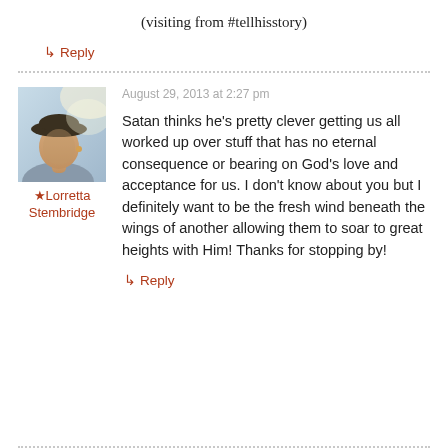(visiting from #tellhisstory)
↳ Reply
August 29, 2013 at 2:27 pm
[Figure (photo): Avatar photo of Lorretta Stembridge - a person wearing a hat, outdoor photo]
★ Lorretta Stembridge
Satan thinks he's pretty clever getting us all worked up over stuff that has no eternal consequence or bearing on God's love and acceptance for us. I don't know about you but I definitely want to be the fresh wind beneath the wings of another allowing them to soar to great heights with Him! Thanks for stopping by!
↳ Reply